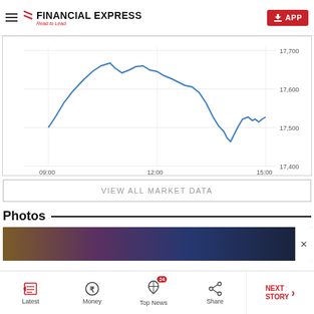Financial Express — Read to Lead
[Figure (continuous-plot): Intraday stock market line chart showing index values from 09:00 to 15:00. The line starts around 17,450, rises to a peak near 17,700 around 10:30, then gradually declines to around 17,500 at the low near 14:00, and recovers to approximately 17,580 by 15:00. Y-axis shows values: 17,400, 17,500, 17,600, 17,700. X-axis shows times: 09:00, 12:00, 15:00.]
VIEW ALL MARKET DATA
Photos
[Figure (photo): Colorful photo strip showing market or crowd imagery in dark tones — purple, teal, dark blue sections.]
Latest | Money | Top News 24 | Share | NEXT STORY